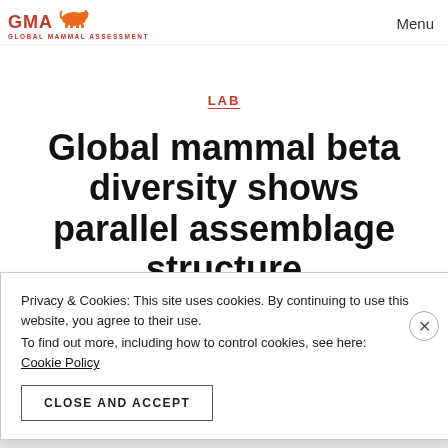GMA GLOBAL MAMMAL ASSESSMENT | Menu
LAB
Global mammal beta diversity shows parallel assemblage structure
Privacy & Cookies: This site uses cookies. By continuing to use this website, you agree to their use.
To find out more, including how to control cookies, see here: Cookie Policy
CLOSE AND ACCEPT